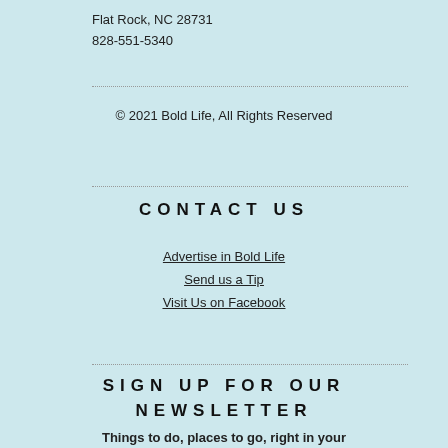Flat Rock, NC 28731
828-551-5340
© 2021 Bold Life, All Rights Reserved
CONTACT US
Advertise in Bold Life
Send us a Tip
Visit Us on Facebook
SIGN UP FOR OUR NEWSLETTER
Things to do, places to go, right in your